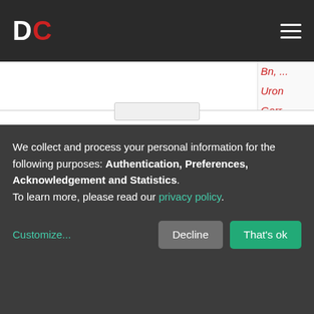DC (logo) navigation bar
[Figure (screenshot): Partially visible webpage content showing a list of truncated names/entries in italic red text on the right sidebar: Uron, Garr, Garc, Mate, Carl, CSID (red block), CVN (cyan), Garc, Cab, Fran, CSID (red block)]
We collect and process your personal information for the following purposes: Authentication, Preferences, Acknowledgement and Statistics. To learn more, please read our privacy policy.
Customize...
Decline
That's ok